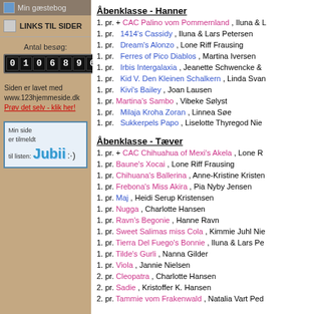Min gæstebog
LINKS TIL SIDER
Antal besøg: 0106964
Siden er lavet med www.123hjemmeside.dk Prøv det selv - klik her!
Min side er tilmeldt til listen: Jubii
Åbenklasse - Hanner
1. pr. + CAC Palino vom Pommernland , Iluna & L
1. pr.  1414's Cassidy , Iluna & Lars Petersen
1. pr.  Dream's Alonzo , Lone Riff Frausing
1. pr.  Ferres of Pico Diablos , Martina Iversen
1. pr.  Irbis Intergalaxia , Jeanette Schwencke &
1. pr.  Kid V. Den Kleinen Schalkern , Linda Svan
1. pr.  Kivi's Bailey , Joan Lausen
1. pr. Martina's Sambo , Vibeke Sølyst
1. pr.  Milaja Kroha Zoran , Linnea Søe
1. pr.  Sukkerpels Papo , Liselotte Thyregod Nie
Åbenklasse - Tæver
1. pr. + CAC Chihuahua of Mexi's Akela , Lone R
1. pr. Baune's Xocai , Lone Riff Frausing
1. pr. Chihuana's Ballerina , Anne-Kristine Kristen
1. pr. Frebona's Miss Akira , Pia Nyby Jensen
1. pr. Maj , Heidi Serup Kristensen
1. pr. Nugga , Charlotte Hansen
1. pr. Ravn's Begonie , Hanne Ravn
1. pr. Sweet Salimas miss Cola , Kimmie Juhl Nie
1. pr. Tierra Del Fuego's Bonnie , Iluna & Lars Pe
1. pr. Tilde's Gurli , Nanna Gilder
1. pr. Viola , Jannie Nielsen
2. pr. Cleopatra , Charlotte Hansen
2. pr. Sadie , Kristoffer K. Hansen
2. pr. Tammie vom Frakenwald , Natalia Vart Ped
Guldvinder Klasse - Tæver
1. pr. +  GVC Martina's Sissi , Martina Iversen